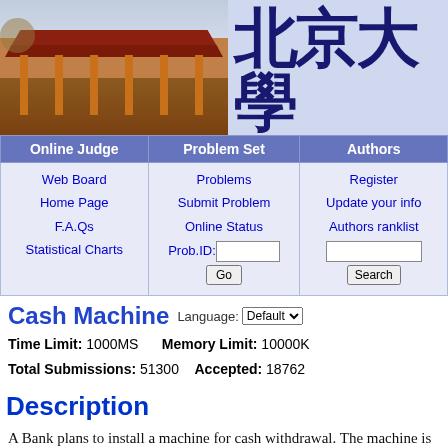[Figure (photo): Header banner with a photo of a traditional Chinese building (likely Peking University) on the left, and Chinese characters plus 'JUDGE ONLINE' text on the right]
| Online Judge | Problem Set | Authors |
| --- | --- | --- |
| Web Board
Home Page
F.A.Qs
Statistical Charts | Problems
Submit Problem
Online Status
Prob.ID: [input] [Go] | Register
Update your info
Authors ranklist
[input] [Search] |
Cash Machine
Language: Default
Time Limit: 1000MS   Memory Limit: 10000K
Total Submissions: 51300   Accepted: 18762
Description
A Bank plans to install a machine for cash withdrawal. The machine is able to deliver appropriate @ bills for a requested cash amount. The machine uses exactly N distinct bill denominations,